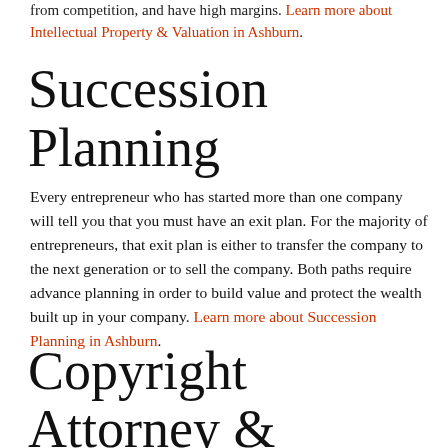from competition, and have high margins. Learn more about Intellectual Property & Valuation in Ashburn.
Succession Planning
Every entrepreneur who has started more than one company will tell you that you must have an exit plan. For the majority of entrepreneurs, that exit plan is either to transfer the company to the next generation or to sell the company. Both paths require advance planning in order to build value and protect the wealth built up in your company. Learn more about Succession Planning in Ashburn.
Copyright Attorney & Copyright Infringement